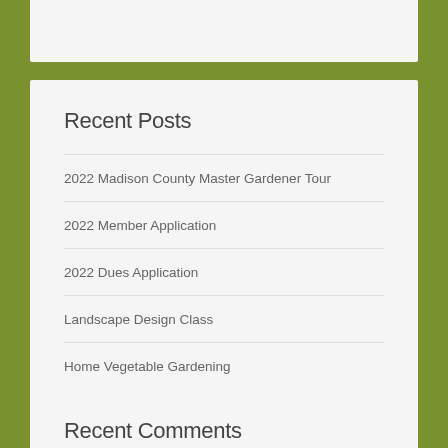Recent Posts
2022 Madison County Master Gardener Tour
2022 Member Application
2022 Dues Application
Landscape Design Class
Home Vegetable Gardening
Recent Comments